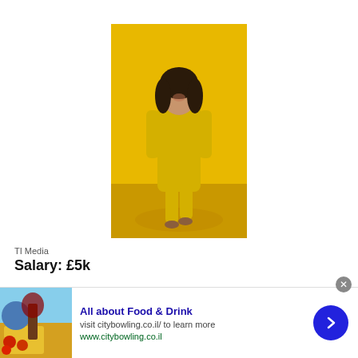[Figure (photo): Woman in yellow dress and yellow background, full body portrait shot, smiling, curly dark hair]
TI Media
Salary: £5k
'I'm hoping it's only up from here'
[Figure (other): Advertisement banner: All about Food & Drink - visit citybowling.co.il/ to learn more - www.citybowling.co.il, with food/drink image on left and navigation button on right]